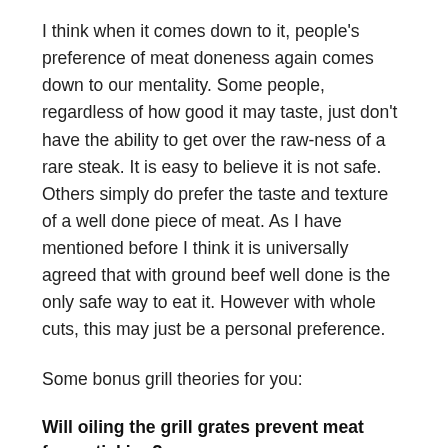I think when it comes down to it, people's preference of meat doneness again comes down to our mentality. Some people, regardless of how good it may taste, just don't have the ability to get over the raw-ness of a rare steak. It is easy to believe it is not safe. Others simply do prefer the taste and texture of a well done piece of meat. As I have mentioned before I think it is universally agreed that with ground beef well done is the only safe way to eat it. However with whole cuts, this may just be a personal preference.
Some bonus grill theories for you:
Will oiling the grill grates prevent meat from sticking?
A lot of people do this to make life easier. I certainly have. I've also read you should oil the meat directly